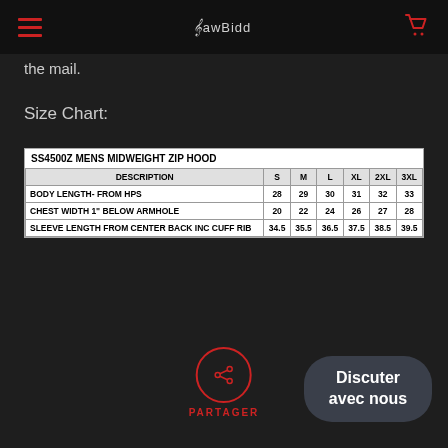RawBidd navigation header
the mail.
Size Chart:
| DESCRIPTION | S | M | L | XL | 2XL | 3XL |
| --- | --- | --- | --- | --- | --- | --- |
| BODY LENGTH- FROM HPS | 28 | 29 | 30 | 31 | 32 | 33 |
| CHEST WIDTH 1" BELOW ARMHOLE | 20 | 22 | 24 | 26 | 27 | 28 |
| SLEEVE LENGTH FROM CENTER BACK INC CUFF RIB | 34.5 | 35.5 | 36.5 | 37.5 | 38.5 | 39.5 |